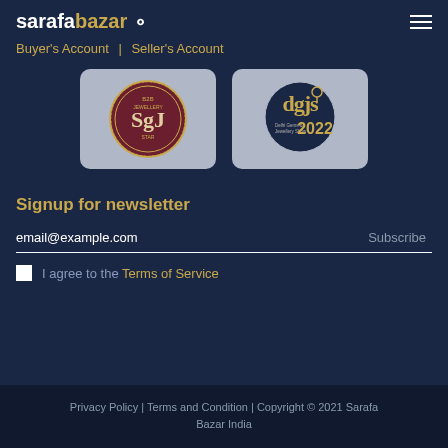sarafabazar
Buyer's Account | Seller's Account
[Figure (logo): SGJ B2B Jewellery Show logo badge, circular maroon and gold design]
[Figure (logo): DGJS Delhi Gems and Jewellery Show 2022 logo, dark circle with gold text]
Signup for newsletter
email@example.com
I agree to the Terms of Service
Privacy Policy | Terms and Condition | Copyright © 2021 Sarafa Bazar India